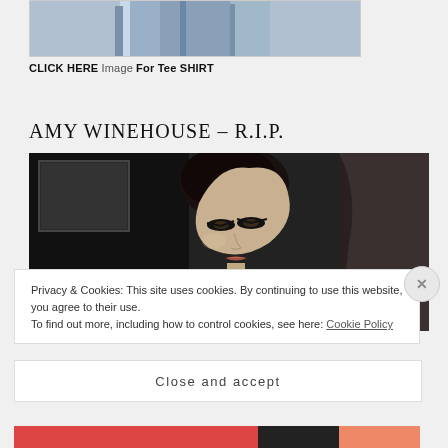[Figure (photo): Partial photo of person wearing jeans, cropped to show lower body]
CLICK HERE Image For Tee SHIRT
AMY WINEHOUSE – R.I.P.
[Figure (photo): Black and white photo of Amy Winehouse looking at camera with dramatic eye makeup and updo hairstyle]
Privacy & Cookies: This site uses cookies. By continuing to use this website, you agree to their use.
To find out more, including how to control cookies, see here: Cookie Policy
Close and accept